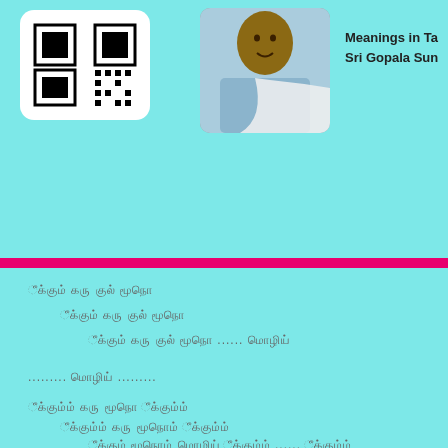[Figure (other): QR code in white rounded rectangle box on teal background]
[Figure (photo): Portrait photo of a person in light blue shirt with white cloth over shoulder]
Meanings in Ta
Sri Gopala Sun
Tamil text verse line 1
Tamil text verse line 2 (indented)
Tamil text verse line 3 (more indented) ...... Tamil word
......... Tamil word .........
Tamil text verse line 4
Tamil text verse line 5 (indented)
Tamil text verse line 6 (more indented) ...... Tamil word